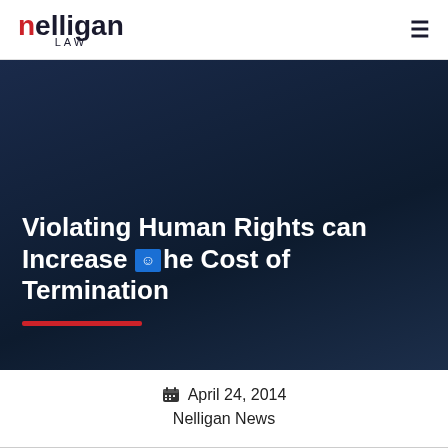nelligan LAW
Violating Human Rights can Increase the Cost of Termination
April 24, 2014
Nelligan News